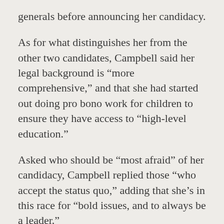generals before announcing her candidacy.
As for what distinguishes her from the other two candidates, Campbell said her legal background is “more comprehensive,” and that she had started out doing pro bono work for children to ensure they have access to “high-level education.”
Asked who should be “most afraid” of her candidacy, Campbell replied those “who accept the status quo,” adding that she’s in this race for “bold issues, and to always be a leader.”
“I really believe in transparency and accountability,” added Campbell.
Liss-Riordan said those who should fear her candidacy the most are “powerful interests who think they can skirt laws and take advantage of workers, consumers